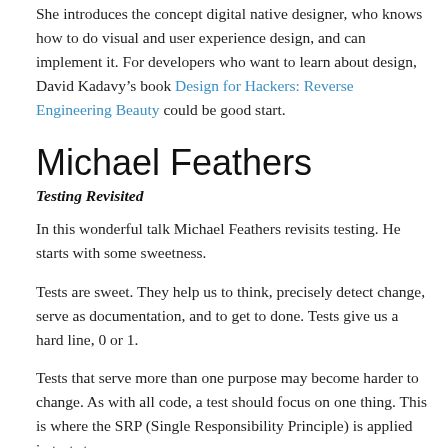She introduces the concept digital native designer, who knows how to do visual and user experience design, and can implement it. For developers who want to learn about design, David Kadavy’s book Design for Hackers: Reverse Engineering Beauty could be good start.
Michael Feathers
Testing Revisited
In this wonderful talk Michael Feathers revisits testing. He starts with some sweetness.
Tests are sweet. They help us to think, precisely detect change, serve as documentation, and to get to done. Tests give us a hard line, 0 or 1.
Tests that serve more than one purpose may become harder to change. As with all code, a test should focus on one thing. This is where the SRP (Single Responsibility Principle) is applied in tests too.
He steps through some common problems with larger test